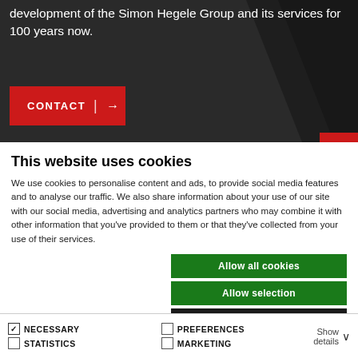development of the Simon Hegele Group and its services for 100 years now.
CONTACT →
This website uses cookies
We use cookies to personalise content and ads, to provide social media features and to analyse our traffic. We also share information about your use of our site with our social media, advertising and analytics partners who may combine it with other information that you've provided to them or that they've collected from your use of their services.
Allow all cookies
Allow selection
Use necessary cookies only
NECESSARY  PREFERENCES  STATISTICS  MARKETING  Show details